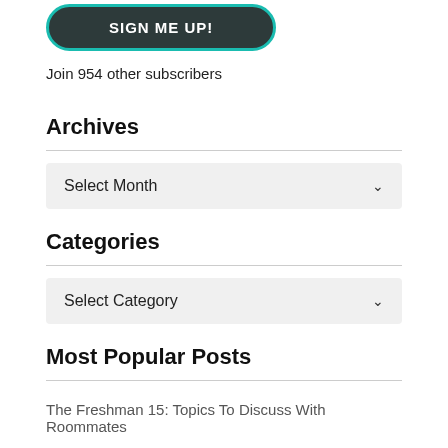[Figure (other): Dark rounded button labeled SIGN ME UP! with teal border]
Join 954 other subscribers
Archives
[Figure (other): Dropdown selector labeled Select Month with chevron arrow]
Categories
[Figure (other): Dropdown selector labeled Select Category with chevron arrow]
Most Popular Posts
The Freshman 15: Topics To Discuss With Roommates